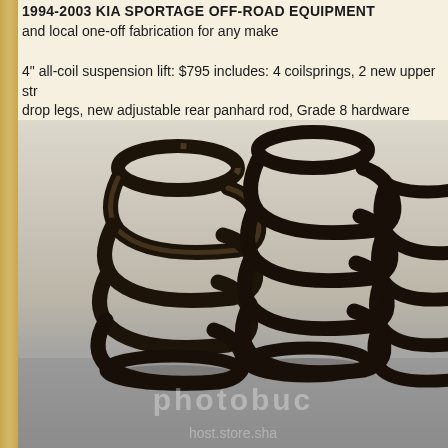1994-2003 KIA SPORTAGE OFF-ROAD EQUIPMENT
and local one-off fabrication for any make
4" all-coil suspension lift: $795 includes: 4 coilsprings, 2 new upper str drop legs, new adjustable rear panhard rod, Grade 8 hardware
[Figure (photo): Photo of multiple black coil springs (suspension lift springs) standing upright on a reflective surface with a light background. Three large coil springs are visible, one smaller one partially visible at right edge. Watermark overlay present.]